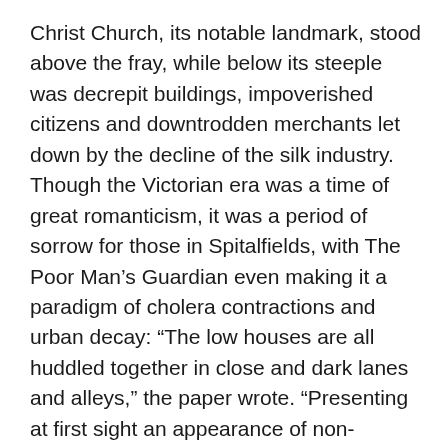Christ Church, its notable landmark, stood above the fray, while below its steeple was decrepit buildings, impoverished citizens and downtrodden merchants let down by the decline of the silk industry. Though the Victorian era was a time of great romanticism, it was a period of sorrow for those in Spitalfields, with The Poor Man's Guardian even making it a paradigm of cholera contractions and urban decay: “The low houses are all huddled together in close and dark lanes and alleys,” the paper wrote. “Presenting at first sight an appearance of non-habitation, so dilapidated are the doors and windows: in every room of the houses, whole families, parents, children and aged grandfathers swarm together.”